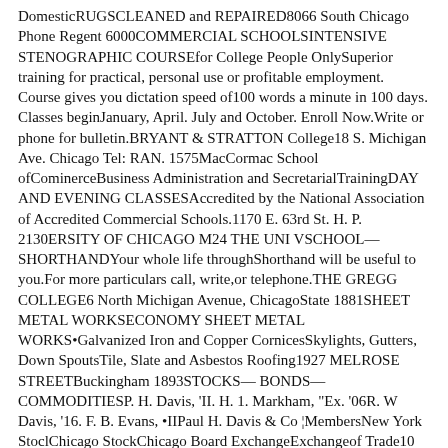DomesticRUGSCLEANED and REPAIRED8066 South Chicago Phone Regent 6000COMMERCIAL SCHOOLSINTENSIVE STENOGRAPHIC COURSEfor College People OnlySuperior training for practical, personal use or profitable employment. Course gives you dictation speed of100 words a minute in 100 days. Classes beginJanuary, April. July and October. Enroll Now.Write or phone for bulletin.BRYANT & STRATTON College18 S. Michigan Ave. Chicago Tel: RAN. 1575MacCormac School ofCominerceBusiness Administration and SecretarialTrainingDAY AND EVENING CLASSESAccredited by the National Association of Accredited Commercial Schools.1170 E. 63rd St. H. P. 2130ERSITY OF CHICAGO M24 THE UNI VSCHOOL— SHORTHANDYour whole life throughShorthand will be useful to you.For more particulars call, write,or telephone.THE GREGG COLLEGE6 North Michigan Avenue, ChicagoState 1881SHEET METAL WORKSECONOMY SHEET METAL WORKS•Galvanized Iron and Copper CornicesSkylights, Gutters, Down SpoutsTile, Slate and Asbestos Roofing1927 MELROSE STREETBuckingham 1893STOCKS— BONDS— COMMODITIESP. H. Davis, 'II. H. 1. Markham, "Ex. '06R. W Davis, '16. F. B. Evans, •IIPaul H. Davis & Co ¦MembersNew York StoclChicago StockChicago Board ExchangeExchangeof Trade10 So. La Salle St. Franklin B622TEACHERS' AGENCIESAMERICAN COLLEGE BUREAU28 E. JACKSON BOULEVARDCHICAGOA Bureau of Placement which limits to make the university and college staff2 to affiliates both sides